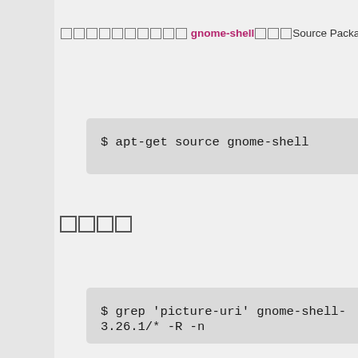ソースコードはgnome-shellというSource Package: g...
$ apt-get source gnome-shell
調べる
$ grep 'picture-uri' gnome-shell-3.26.1/* -R -n...
結果
gnome-shell-3.26.1/js/ui/background.js:119:...